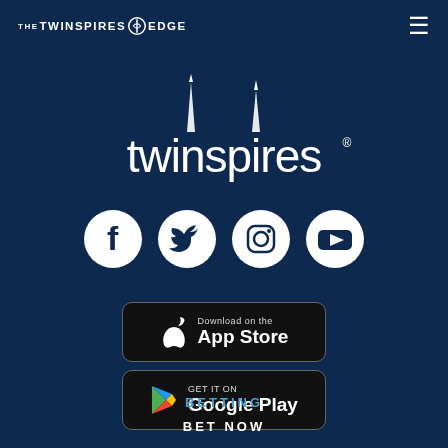THE TWINSPIRES EDGE
[Figure (logo): TwinSpires logo with twin spires and wordmark 'twinspires' in white on dark blue background]
[Figure (infographic): Social media icons: Facebook, Twitter, Instagram, YouTube — white circles on dark blue]
[Figure (infographic): Download on the App Store button (black rounded rectangle with Apple logo)]
[Figure (infographic): Get it on Google Play button (black rounded rectangle with Google Play logo)]
BETTING
BET NOW